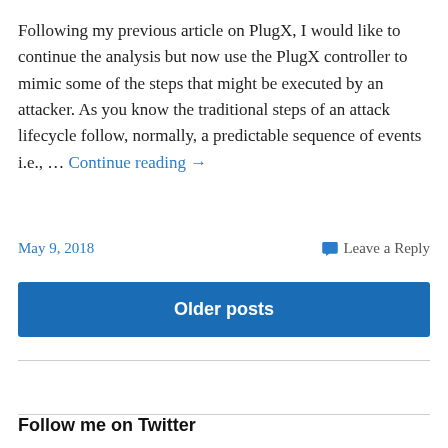Following my previous article on PlugX, I would like to continue the analysis but now use the PlugX controller to mimic some of the steps that might be executed by an attacker. As you know the traditional steps of an attack lifecycle follow, normally, a predictable sequence of events i.e., … Continue reading →
May 9, 2018
Leave a Reply
Older posts
Follow me on Twitter